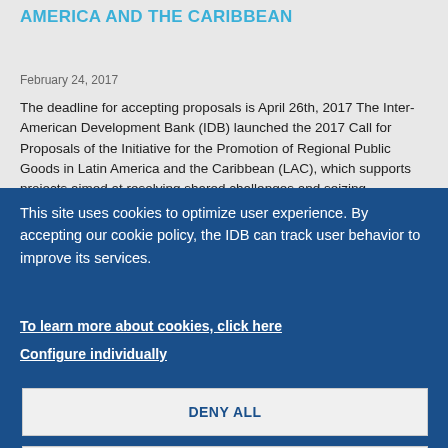AMERICA AND THE CARIBBEAN
February 24, 2017
The deadline for accepting proposals is April 26th, 2017 The Inter-American Development Bank (IDB) launched the 2017 Call for Proposals of the Initiative for the Promotion of Regional Public Goods in Latin America and the Caribbean (LAC), which supports projects aimed at resolving shared challenges and seizing
This site uses cookies to optimize user experience. By accepting our cookie policy, the IDB can track user behavior to improve its services.
To learn more about cookies, click here
Configure individually
DENY ALL
ACCEPT ALL